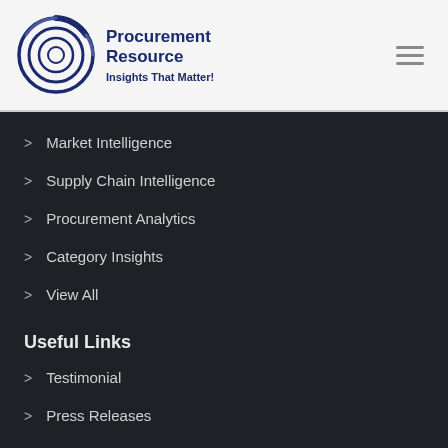Procurement Resource — Insights That Matter!
Market Intelligence
Supply Chain Intelligence
Procurement Analytics
Category Insights
View All
Useful Links
Testimonial
Press Releases
About Us